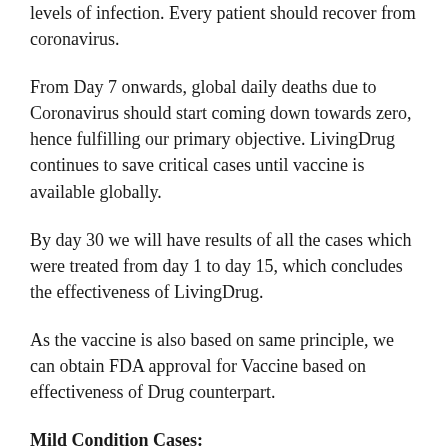levels of infection. Every patient should recover from coronavirus.
From Day 7 onwards, global daily deaths due to Coronavirus should start coming down towards zero, hence fulfilling our primary objective. LivingDrug continues to save critical cases until vaccine is available globally.
By day 30 we will have results of all the cases which were treated from day 1 to day 15, which concludes the effectiveness of LivingDrug.
As the vaccine is also based on same principle, we can obtain FDA approval for Vaccine based on effectiveness of Drug counterpart.
Mild Condition Cases:
We need to make sure that Coronavirus is present inside the